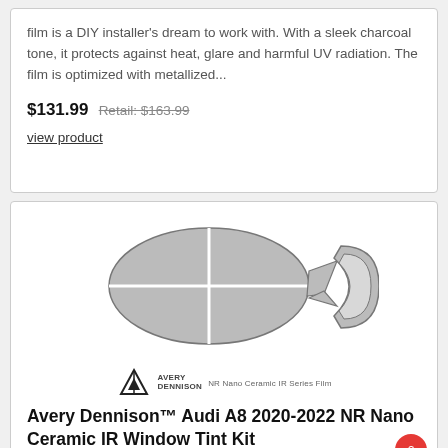film is a DIY installer's dream to work with. With a sleek charcoal tone, it protects against heat, glare and harmful UV radiation. The film is optimized with metallized...
$131.99 Retail: $163.99
view product
[Figure (illustration): Diagram of car window tint kit pieces showing windshield and rear window cutouts in grey, with Avery Dennison logo and 'NR Nano Ceramic IR Series Film' label below]
Avery Dennison™ Audi A8 2020-2022 NR Nano Ceramic IR Window Tint Kit